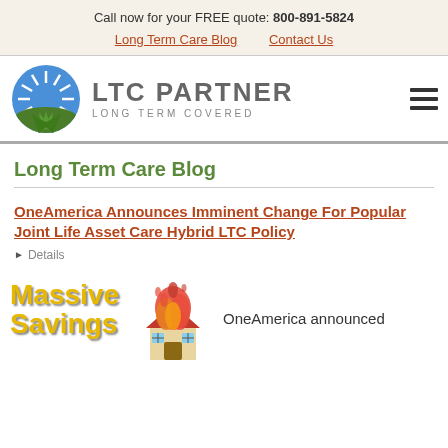Call now for your FREE quote: 800-891-5824
Long Term Care Blog | Contact Us
[Figure (logo): LTC Partner logo with blue/green sunburst circle and text 'LTC PARTNER LONG TERM COVERED']
Long Term Care Blog
OneAmerica Announces Imminent Change For Popular Joint Life Asset Care Hybrid LTC Policy
Details
[Figure (illustration): Massive Savings text in yellow with a burning house illustration and text 'OneAmerica announced']